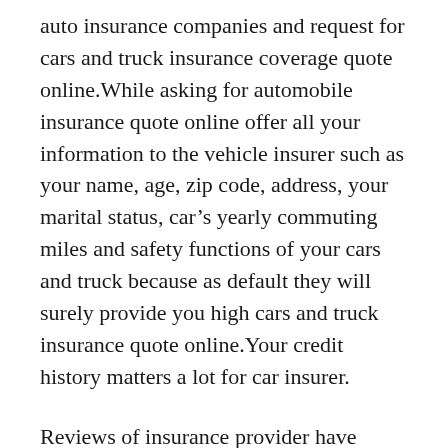auto insurance companies and request for cars and truck insurance coverage quote online.While asking for automobile insurance quote online offer all your information to the vehicle insurer such as your name, age, zip code, address, your marital status, car's yearly commuting miles and safety functions of your cars and truck because as default they will surely provide you high cars and truck insurance quote online.Your credit history matters a lot for car insurer.
Reviews of insurance provider have shown a connection in between credit scores and run the risk of to an insurance provider. Hence, manage your credit history to a favorable level